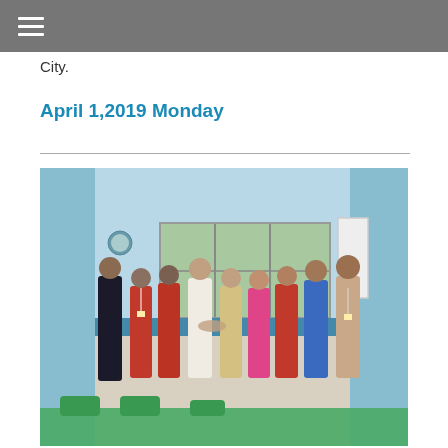≡
City.
April 1,2019 Monday
[Figure (photo): Group photo of approximately 9 people (men and women) standing together inside a blue-painted room with windows, a whiteboard, and green chairs/table. Some wear red shirts, one in white, one in blue, one in pink. Appears to be an official event or meeting.]